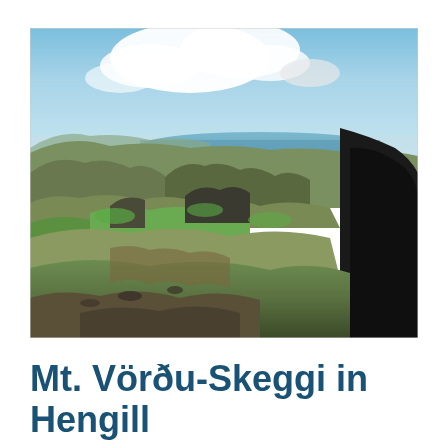[Figure (photo): Aerial landscape photograph of Mt. Vörðu-Skeggi in Hengill, Iceland. The view shows volcanic hills and mountains with green and brown terrain in the foreground and middle ground, a large body of water (likely Þingvallavatn lake) visible in the distance under a blue sky with white clouds. Dark rocky cliffs visible on the right edge.]
Mt. Vörðu-Skeggi in Hengill